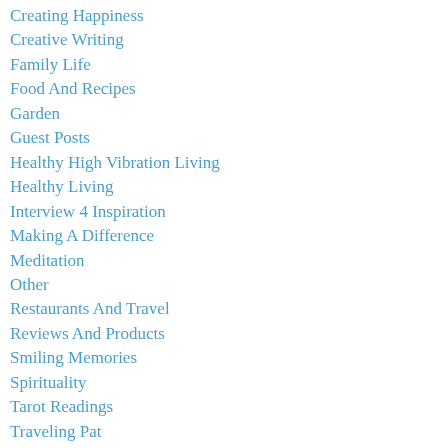Creating Happiness
Creative Writing
Family Life
Food And Recipes
Garden
Guest Posts
Healthy High Vibration Living
Healthy Living
Interview 4 Inspiration
Making A Difference
Meditation
Other
Restaurants And Travel
Reviews And Products
Smiling Memories
Spirituality
Tarot Readings
Traveling Pat
Why
Wondrous Wednesday
Yoga